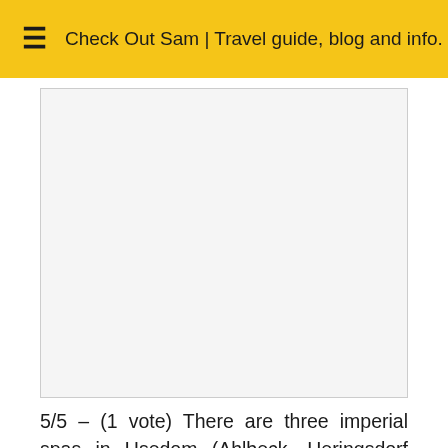☰  Check Out Sam | Travel guide, blog and info.
[Figure (other): Advertisement or image placeholder — blank white/light gray rectangle with border]
5/5 – (1 vote) There are three imperial spas in Usedom (Ahlbeck, Heringsdorf and Bansin) and the sea side resort Zinnowitz on Usedom. Each one of them lies near the beautiful golden beaches of the island and it almost looks like these places